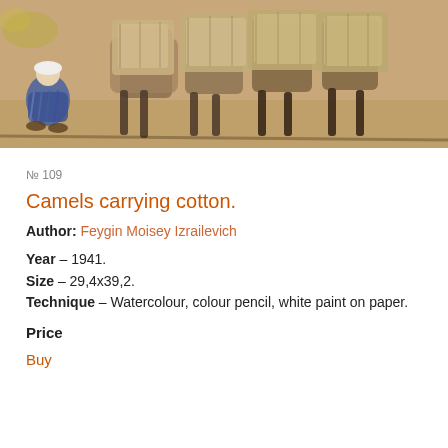[Figure (illustration): A watercolour and pencil sketch showing camels loaded with large rectangular bales of cotton, with a seated figure in traditional dress at the left side. Brown toned paper, dark charcoal outlines, hints of blue on the figure.]
№ 109
Camels carrying cotton.
Author: Feygin Moisey Izrailevich
Year – 1941.
Size – 29,4x39,2.
Technique – Watercolour, colour pencil, white paint on paper.
Price
Buy